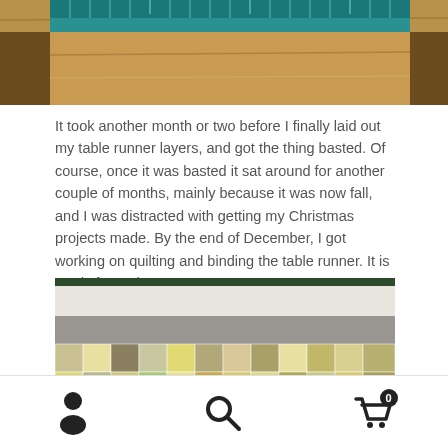[Figure (photo): Top portion of a photo showing a cutting mat with ruler on a wooden table, partially cropped]
It took another month or two before I finally laid out my table runner layers, and got the thing basted. Of course, once it was basted it sat around for another couple of months, mainly because it was now fall, and I was distracted with getting my Christmas projects made. By the end of December, I got working on quilting and binding the table runner. It is ready for spring 2020.
[Figure (photo): Photo of a quilted table runner laid flat, showing patchwork squares in green, yellow, and gray tones with a white and gray striped backing, partially cropped at bottom]
Person icon, Search icon, Cart icon with badge 0